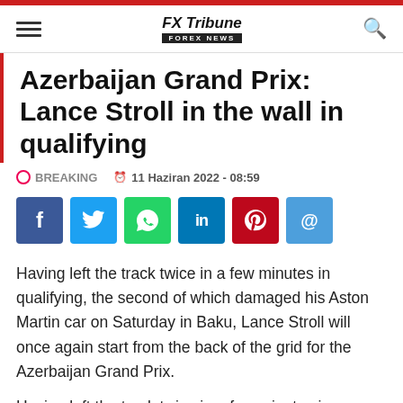FX Tribune FOREX NEWS
Azerbaijan Grand Prix: Lance Stroll in the wall in qualifying
BREAKING   11 Haziran 2022 - 08:59
[Figure (infographic): Social media share buttons: Facebook, Twitter, WhatsApp, LinkedIn, Pinterest, Email]
Having left the track twice in a few minutes in qualifying, the second of which damaged his Aston Martin car on Saturday in Baku, Lance Stroll will once again start from the back of the grid for the Azerbaijan Grand Prix.
Having left the track twice in a few minutes in qualifying, the second of which damaged his Aston Martin car on Saturday in Baku, Lance Stroll will once